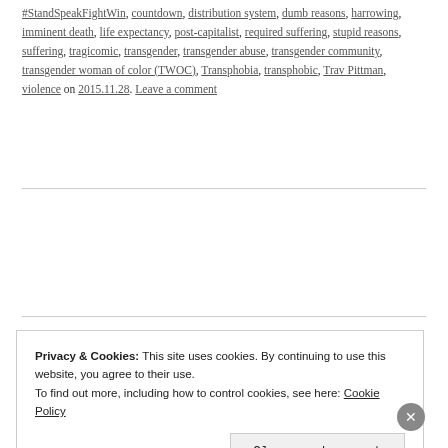#StandSpeakFightWin, countdown, distribution system, dumb reasons, harrowing, imminent death, life expectancy, post-capitalist, required suffering, stupid reasons, suffering, tragicomic, transgender, transgender abuse, transgender community, transgender woman of color (TWOC), Transphobia, transphobic, Trav Pittman, violence on 2015.11.28. Leave a comment
Privacy & Cookies: This site uses cookies. By continuing to use this website, you agree to their use. To find out more, including how to control cookies, see here: Cookie Policy
Close and accept